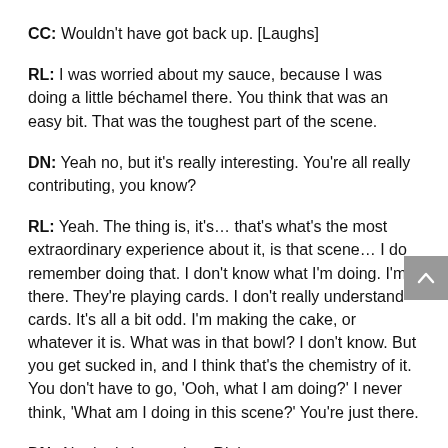CC: Wouldn't have got back up. [Laughs]
RL: I was worried about my sauce, because I was doing a little béchamel there. You think that was an easy bit. That was the toughest part of the scene.
DN: Yeah no, but it's really interesting. You're all really contributing, you know?
RL: Yeah. The thing is, it's… that's what's the most extraordinary experience about it, is that scene… I do remember doing that. I don't know what I'm doing. I'm there. They're playing cards. I don't really understand cards. It's all a bit odd. I'm making the cake, or whatever it is. What was in that bowl? I don't know. But you get sucked in, and I think that's the chemistry of it. You don't have to go, 'Ooh, what I am doing?' I never think, 'What am I doing in this scene?' You're just there.
DN: Ah, that's interesting. Right.